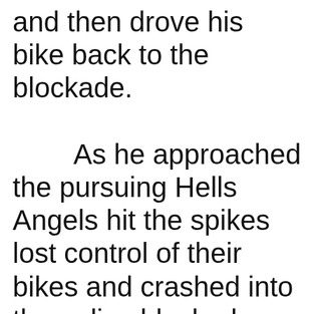and then drove his bike back to the blockade.

        As he approached the pursuing Hells Angels hit the spikes lost control of their bikes and crashed into the police blockade. Six bikes in all and all of the men were scraped off the tarmac and arrested including he